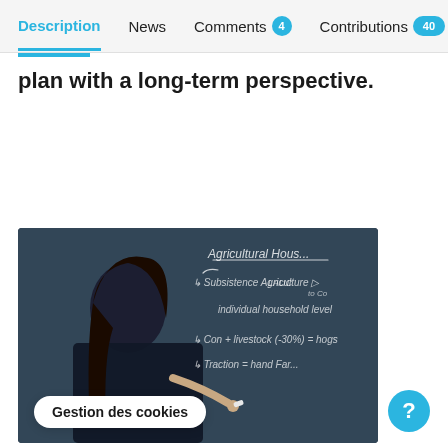Description | News | Comments 4 | Contributions 40
plan with a long-term perspective.
[Figure (photo): A young woman with long dark hair writing on a chalkboard. The chalkboard shows economics/agricultural economics notes including 'Agricultural Households', 'Subsistence Agriculture', 'individual household level', 'Cons + Livestock (-30%) = hogs', 'Traction = Hand Farm'.]
Gestion des cookies